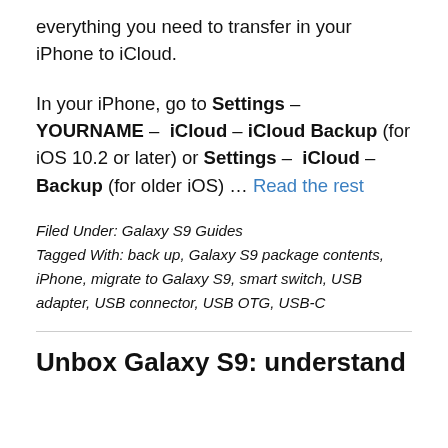everything you need to transfer in your iPhone to iCloud.
In your iPhone, go to Settings – YOURNAME – iCloud – iCloud Backup (for iOS 10.2 or later) or Settings – iCloud – Backup (for older iOS) … Read the rest
Filed Under: Galaxy S9 Guides
Tagged With: back up, Galaxy S9 package contents, iPhone, migrate to Galaxy S9, smart switch, USB adapter, USB connector, USB OTG, USB-C
Unbox Galaxy S9: understand